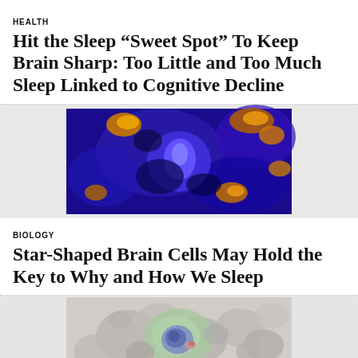HEALTH
Hit the Sleep “Sweet Spot” To Keep Brain Sharp: Too Little and Too Much Sleep Linked to Cognitive Decline
[Figure (photo): Microscopic image of brain cells on a blue/purple background with orange/gold regions highlighted]
BIOLOGY
Star-Shaped Brain Cells May Hold the Key to Why and How We Sleep
[Figure (photo): Microscopic image of star-shaped brain cells (astrocytes) in green, purple and grey tones]